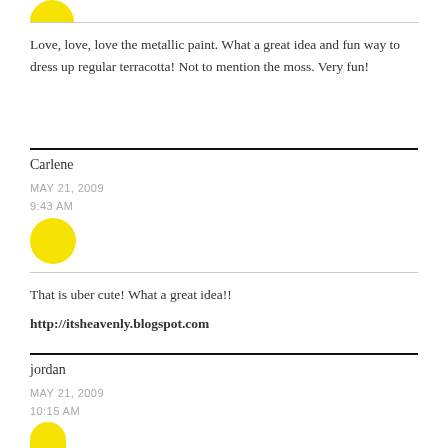[Figure (illustration): Yellow circle avatar at the top, partially cropped]
Love, love, love the metallic paint. What a great idea and fun way to dress up regular terracotta! Not to mention the moss. Very fun!
Carlene
MAY 21, 2009
9:43 AM
[Figure (illustration): Yellow circle avatar]
That is uber cute! What a great idea!!
http://itsheavenly.blogspot.com
jordan
MAY 21, 2009
10:15 AM
[Figure (illustration): Yellow circle avatar at the bottom, partially cropped]